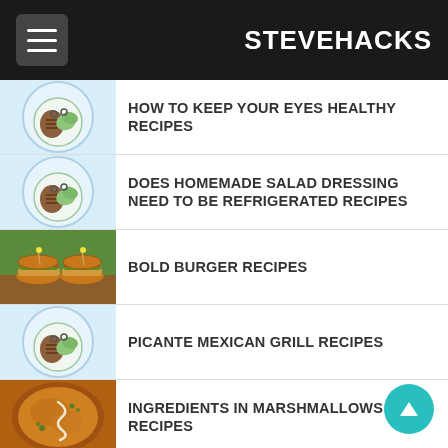STEVEHACKS
HOW TO KEEP YOUR EYES HEALTHY RECIPES
DOES HOMEMADE SALAD DRESSING NEED TO BE REFRIGERATED RECIPES
BOLD BURGER RECIPES
PICANTE MEXICAN GRILL RECIPES
INGREDIENTS IN MARSHMALLOWS RECIPES